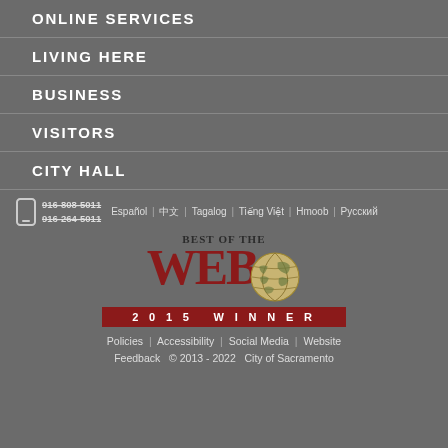ONLINE SERVICES
LIVING HERE
BUSINESS
VISITORS
CITY HALL
916-808-5011 916-264-5011 | Español | 中文 | Tagalog | Tiếng Việt | Hmoob | Русский
[Figure (logo): Best of the Web 2015 Winner logo with globe graphic]
Policies | Accessibility | Social Media | Website Feedback © 2013 - 2022 City of Sacramento